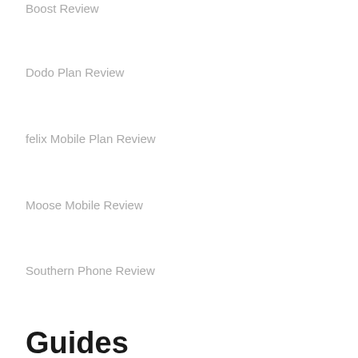Boost Review
Dodo Plan Review
felix Mobile Plan Review
Moose Mobile Review
Southern Phone Review
Guides
Top Tips: How to choose a mobile plan and telco
How Much Data Do I Need In My Phone Plan?
Best Mobile Phone Coverage in Australia | Network Reviews